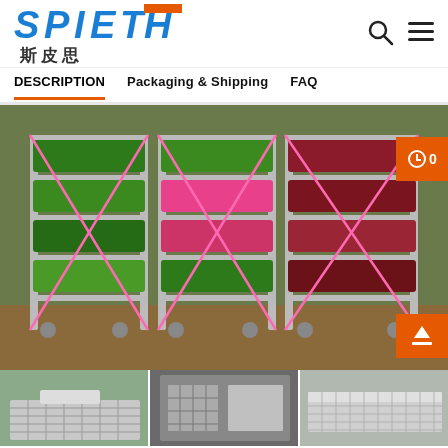[Figure (logo): SPIETH logo with blue and orange text and Chinese characters 斯皮思]
DESCRIPTION   Packaging & Shipping   FAQ
[Figure (photo): Rows of metal rolling shelving racks filled with potted flowering plants including green and red/purple foliage in a greenhouse or nursery setting]
[Figure (photo): Three thumbnail images of galvanized steel mesh wire shelving/tray components for the plant racks]